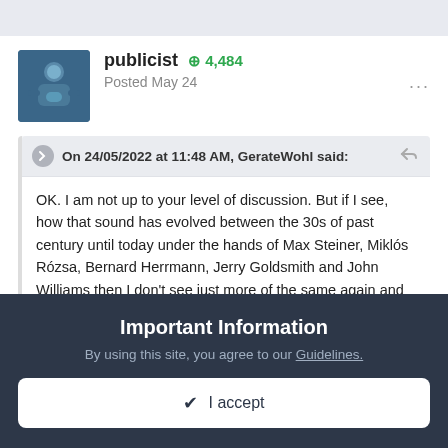publicist +4,484
Posted May 24
On 24/05/2022 at 11:48 AM, GerateWohl said:
OK. I am not up to your level of discussion. But if I see, how that sound has evolved between the 30s of past century until today under the hands of Max Steiner, Miklós Rózsa, Bernard Herrmann, Jerry Goldsmith and John Williams then I don't see just more of the same again and again, musically.
Important Information
By using this site, you agree to our Guidelines.
✔ I accept